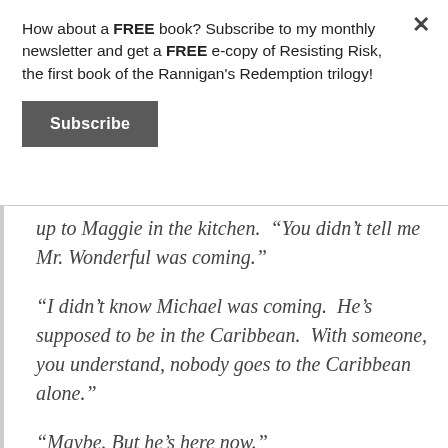How about a FREE book? Subscribe to my monthly newsletter and get a FREE e-copy of Resisting Risk, the first book of the Rannigan's Redemption trilogy!
Subscribe
up to Maggie in the kitchen.  “You didn’t tell me Mr. Wonderful was coming.”
“I didn’t know Michael was coming.  He’s supposed to be in the Caribbean.  With someone, you understand, nobody goes to the Caribbean alone.”
“Maybe. But he’s here now.”